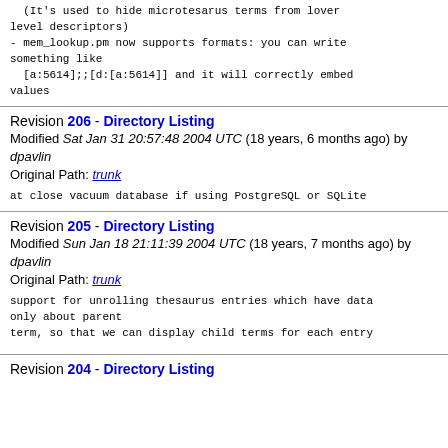(It's used to hide microtesarus terms from lover level descriptors)
- mem_lookup.pm now supports formats: you can write something like
  [a:5614];;[d:[a:5614]] and it will correctly embed values
Revision 206 - Directory Listing
Modified Sat Jan 31 20:57:48 2004 UTC (18 years, 6 months ago) by dpavlin
Original Path: trunk
at close vacuum database if using PostgreSQL or SQLite
Revision 205 - Directory Listing
Modified Sun Jan 18 21:11:39 2004 UTC (18 years, 7 months ago) by dpavlin
Original Path: trunk
support for unrolling thesaurus entries which have data only about parent
term, so that we can display child terms for each entry
Revision 204 - Directory Listing